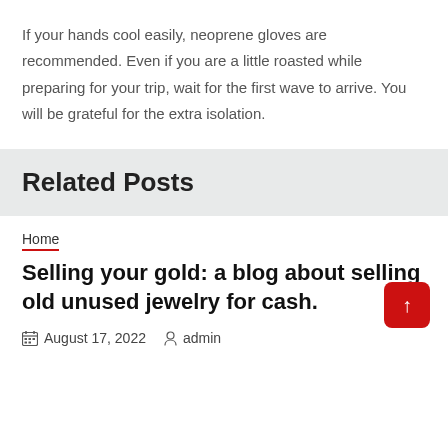If your hands cool easily, neoprene gloves are recommended. Even if you are a little roasted while preparing for your trip, wait for the first wave to arrive. You will be grateful for the extra isolation.
Related Posts
Home
Selling your gold: a blog about selling old unused jewelry for cash.
August 17, 2022   admin